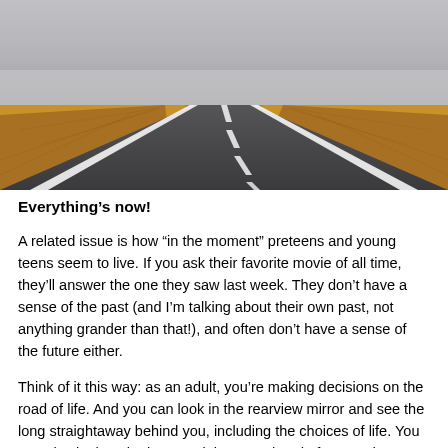[Figure (photo): A long straight road vanishing into a foggy horizon, flanked by flat brown grasslands on both sides. The road has white dashed centre lines and white edge lines. The sky is grey and overcast.]
Everything’s now!
A related issue is how “in the moment” preteens and young teens seem to live. If you ask their favorite movie of all time, they’ll answer the one they saw last week. They don’t have a sense of the past (and I’m talking about their own past, not anything grander than that!), and often don’t have a sense of the future either.
Think of it this way: as an adult, you’re making decisions on the road of life. And you can look in the rearview mirror and see the long straightaway behind you, including the choices of life. You can also look at the long straightaway ahead of you and…